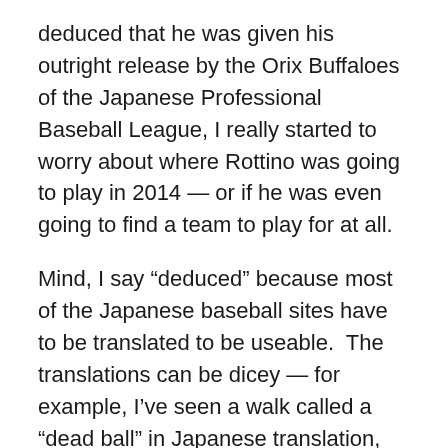deduced that he was given his outright release by the Orix Buffaloes of the Japanese Professional Baseball League, I really started to worry about where Rottino was going to play in 2014 — or if he was even going to find a team to play for at all.
Mind, I say “deduced” because most of the Japanese baseball sites have to be translated to be useable.  The translations can be dicey — for example, I’ve seen a walk called a “dead ball” in Japanese translation, and some of the other stats can be just as interesting to figure out.
What wasn’t hard to figure out, though, were Rottino’s 2013 stats: 37 games played, 111 plate appearances, a .206 batting average . . . the four homers, the eight RBI, and the single stolen base notwithstanding, this obviously was not the year Rottino was hoping to have in Japan.